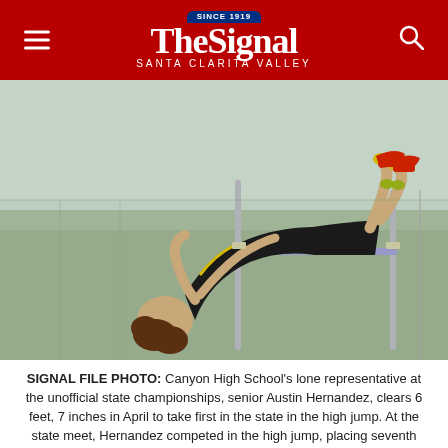The Signal — Santa Clarita Valley (Since 1919)
[Figure (photo): A high school athlete performing a high jump, arching backwards over the bar in the Fosbury Flop technique, wearing a black uniform and red shoes, photographed mid-jump with a chain-link fence and suburban landscape in the background.]
SIGNAL FILE PHOTO: Canyon High School's lone representative at the unofficial state championships, senior Austin Hernandez, clears 6 feet, 7 inches in April to take first in the state in the high jump. At the state meet, Hernandez competed in the high jump, placing seventh with a 6-foot, 2-inch jump, and the 110-meter hurdles, placing fourth. Dan Watson/The Signal